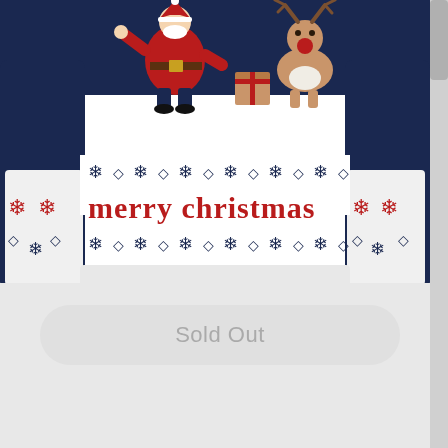[Figure (photo): A Christmas sweater/jumper with a navy blue body featuring Santa Claus and a reindeer on the front, with 'Merry Christmas' text knitted in red on a white background, with snowflake patterns on the sleeves and body border]
Sold Out